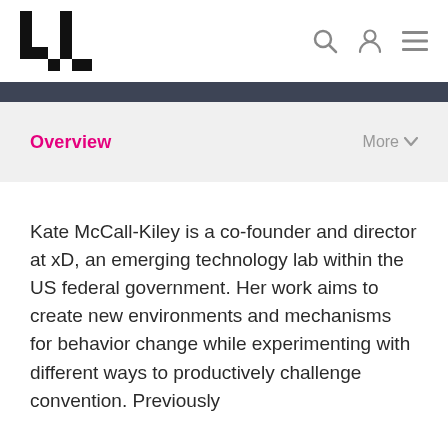[Logo: xD] [search icon] [user icon] [menu icon]
Overview
Kate McCall-Kiley is a co-founder and director at xD, an emerging technology lab within the US federal government. Her work aims to create new environments and mechanisms for behavior change while experimenting with different ways to productively challenge convention. Previously